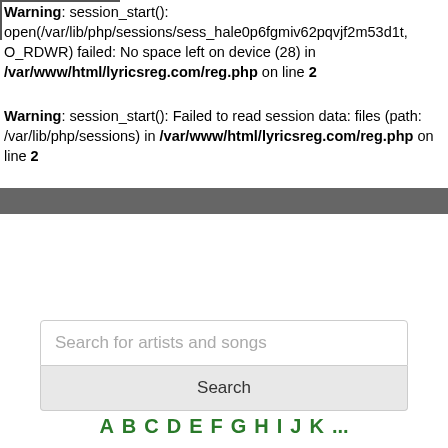Warning: session_start(): open(/var/lib/php/sessions/sess_hale0p6fgmiv62pqvjf2m53d1t, O_RDWR) failed: No space left on device (28) in /var/www/html/lyricsreg.com/reg.php on line 2
Warning: session_start(): Failed to read session data: files (path: /var/lib/php/sessions) in /var/www/html/lyricsreg.com/reg.php on line 2
[Figure (screenshot): Search bar with placeholder text 'Search for artists and songs' and a Search button below it]
A B C D E F G H I J K ...